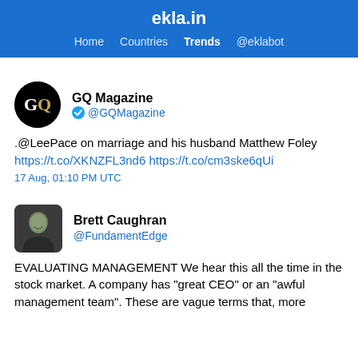ekla.in
Home  Countries  Trends  @eklabot
GQ Magazine @GQMagazine
.@LeePace on marriage and his husband Matthew Foley https://t.co/XKNZFL3nd6 https://t.co/cm3ske6qUi
17 Aug, 01:10 PM UTC
Brett Caughran @FundamentEdge
EVALUATING MANAGEMENT We hear this all the time in the stock market. A company has "great CEO" or an "awful management team". These are vague terms that, more